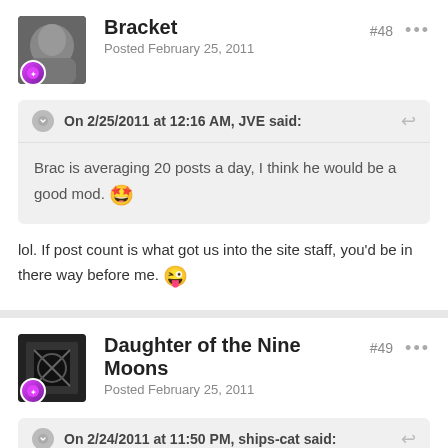Bracket
Posted February 25, 2011
#48
On 2/25/2011 at 12:16 AM, JVE said:
Brac is averaging 20 posts a day, I think he would be a good mod. 😜
lol. If post count is what got us into the site staff, you'd be in there way before me. 😜
Daughter of the Nine Moons
Posted February 25, 2011
#49
On 2/24/2011 at 11:50 PM, ships-cat said:
Ummmmm... funny you should say that... photomontage